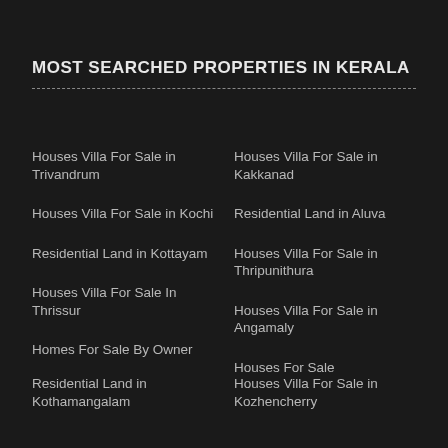MOST SEARCHED PROPERTIES IN KERALA
Houses Villa For Sale in Trivandrum
Houses Villa For Sale in Kochi
Residential Land in Kottayam
Houses Villa For Sale In Thrissur
Homes For Sale By Owner
Houses Villa For Sale in Kakkanad
Residential Land in Aluva
Houses Villa For Sale in Thripunithura
Houses Villa For Sale in Angamaly
Houses For Sale
Residential Land in Kothamangalam
Houses Villa For Sale in Kozhencherry